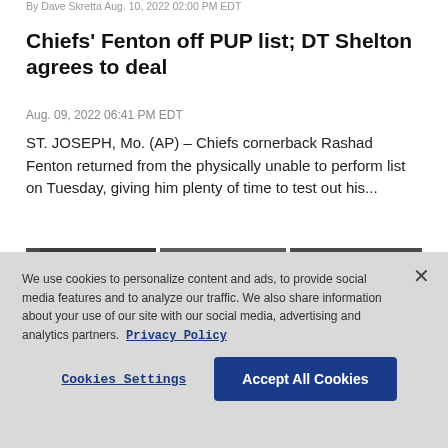By Dave Skretta Aug. 10, 2022 02:00 PM EDT
Chiefs' Fenton off PUP list; DT Shelton agrees to deal
Aug. 09, 2022 06:41 PM EDT
ST. JOSEPH, Mo. (AP) – Chiefs cornerback Rashad Fenton returned from the physically unable to perform list on Tuesday, giving him plenty of time to test out his...
[Figure (photo): Three dark thumbnail images of football-related content, with a yellow goal post element on the left edge]
We use cookies to personalize content and ads, to provide social media features and to analyze our traffic. We also share information about your use of our site with our social media, advertising and analytics partners. Privacy Policy
Cookies Settings | Accept All Cookies